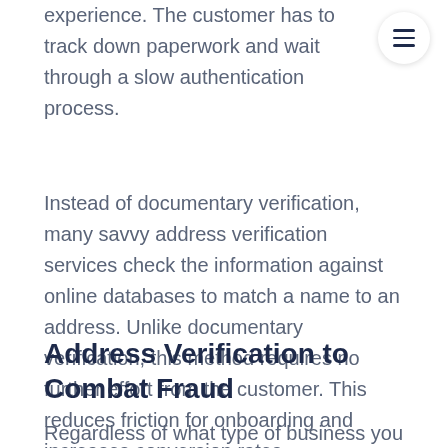experience. The customer has to track down paperwork and wait through a slow authentication process.
Instead of documentary verification, many savvy address verification services check the information against online databases to match a name to an address. Unlike documentary verification, this method requires no further effort from the customer. This reduces friction for onboarding and increases conversion rates.
Address Verification to Combat Fraud
Regardless of what type of business you are a part